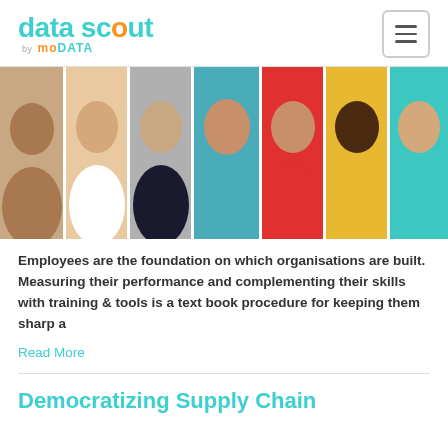[Figure (logo): Data Scout by MoData logo — 'data scout' in teal with orange 'o', 'by MoDATA' tagline below in orange and teal]
[Figure (photo): Strip of seven diverse smiling faces/portraits arranged side by side]
Employees are the foundation on which organisations are built. Measuring their performance and complementing their skills with training & tools is a text book procedure for keeping them sharp a
Read More
Democratizing Supply Chain